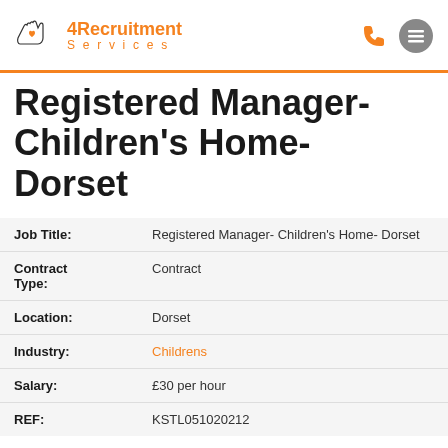[Figure (logo): 4Recruitment Services logo with hand/heart icon and orange text]
Registered Manager- Children's Home- Dorset
| Field | Value |
| --- | --- |
| Job Title: | Registered Manager- Children's Home- Dorset |
| Contract Type: | Contract |
| Location: | Dorset |
| Industry: | Childrens |
| Salary: | £30 per hour |
| REF: | KSTL051020212 |